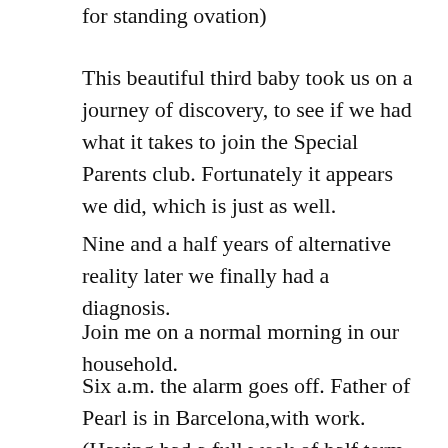for standing ovation)
This beautiful third baby took us on a journey of discovery, to see if we had what it takes to join the Special Parents club. Fortunately it appears we did, which is just as well.
Nine and a half years of alternative reality later we finally had a diagnosis.
Join me on a normal morning in our household.
Six a.m. the alarm goes off. Father of Pearl is in Barcelona,with work. (Having had a full week of half term already, I was delighted to receive pictures of Gaudi’s world famous architecture